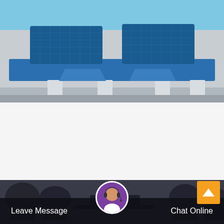[Figure (photo): Blue industrial hard rock crusher/screening machine on factory floor, viewed from the front, with blue metal framework and white support legs]
Metso small hard rock crusher plant Gravel And Sand
Metso Agoda ░░░░░░░ - ░░░░░░░2░░:::Metso small scale 40tph to 60tph capacity Hard rocks crushing plant by ...::: Metso Small Scale Hard Rock Crusher | Traile…
[Figure (photo): Industrial heavy machinery/cone crushers in a dark factory setting, with chat overlay bar at the bottom showing Leave Message and Chat Online buttons and a customer service avatar]
Leave Message
Chat Online